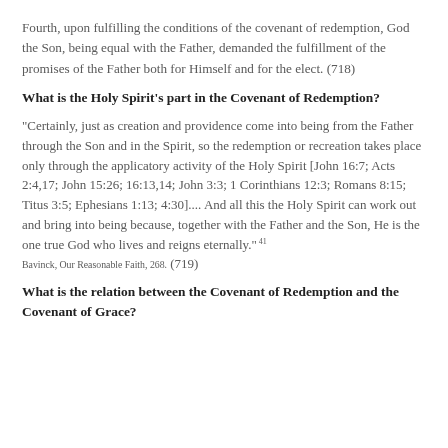Fourth, upon fulfilling the conditions of the covenant of redemption, God the Son, being equal with the Father, demanded the fulfillment of the promises of the Father both for Himself and for the elect. (718)
What is the Holy Spirit's part in the Covenant of Redemption?
"Certainly, just as creation and providence come into being from the Father through the Son and in the Spirit, so the redemption or recreation takes place only through the applicatory activity of the Holy Spirit [John 16:7; Acts 2:4,17; John 15:26; 16:13,14; John 3:3; 1 Corinthians 12:3; Romans 8:15; Titus 3:5; Ephesians 1:13; 4:30].... And all this the Holy Spirit can work out and bring into being because, together with the Father and the Son, He is the one true God who lives and reigns eternally." 41 Bavinck, Our Reasonable Faith, 268. (719)
What is the relation between the Covenant of Redemption and the Covenant of Grace?